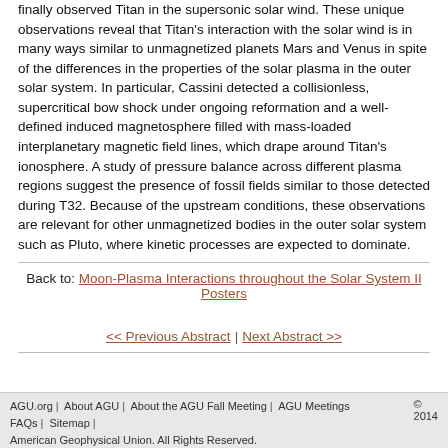finally observed Titan in the supersonic solar wind. These unique observations reveal that Titan's interaction with the solar wind is in many ways similar to unmagnetized planets Mars and Venus in spite of the differences in the properties of the solar plasma in the outer solar system. In particular, Cassini detected a collisionless, supercritical bow shock under ongoing reformation and a well-defined induced magnetosphere filled with mass-loaded interplanetary magnetic field lines, which drape around Titan's ionosphere. A study of pressure balance across different plasma regions suggest the presence of fossil fields similar to those detected during T32. Because of the upstream conditions, these observations are relevant for other unmagnetized bodies in the outer solar system such as Pluto, where kinetic processes are expected to dominate.
Back to: Moon-Plasma Interactions throughout the Solar System II Posters
<< Previous Abstract | Next Abstract >>
AGU.org | About AGU | About the AGU Fall Meeting | AGU Meetings | © 2014 FAQs | Sitemap | American Geophysical Union. All Rights Reserved.